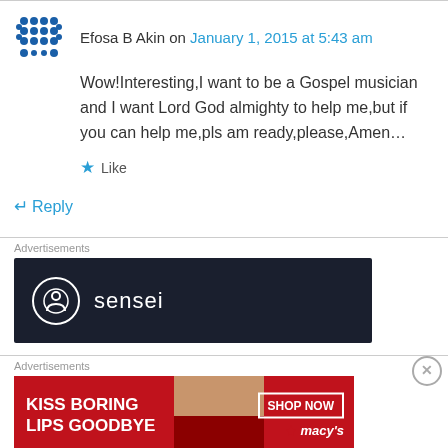Efosa B Akin on January 1, 2015 at 5:43 am
Wow!Interesting,I want to be a Gospel musician and I want Lord God almighty to help me,but if you can help me,pls am ready,please,Amen…
Like
Reply
Advertisements
[Figure (logo): Sensei advertisement banner: dark navy background with white circle logo and 'sensei' text]
Advertisements
[Figure (photo): Macy's advertisement: red background with woman's face, 'KISS BORING LIPS GOODBYE', SHOP NOW button and Macy's logo]